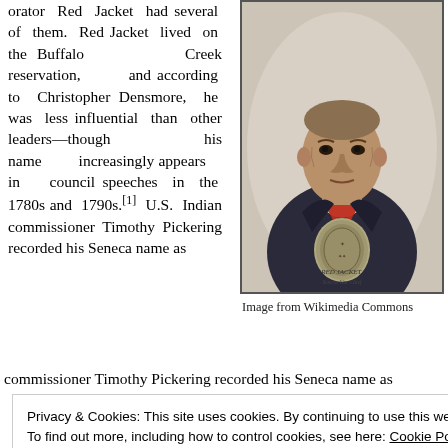orator Red Jacket had several of them. Red Jacket lived on the Buffalo Creek reservation, and according to Christopher Densmore, he was less influential than other leaders—though his name increasingly appears in council speeches in the 1780s and 1790s.[1] U.S. Indian commissioner Timothy Pickering recorded his Seneca name as
[Figure (illustration): Portrait illustration of Red Jacket, a Seneca leader, wearing a dark jacket with a red cravat and a large peace medal around his neck. Caption reads 'RED JACKET. Seneca War Chief' in stylized text.]
Image from Wikimedia Commons
Privacy & Cookies: This site uses cookies. By continuing to use this website, you agree to their use. To find out more, including how to control cookies, see here: Cookie Policy